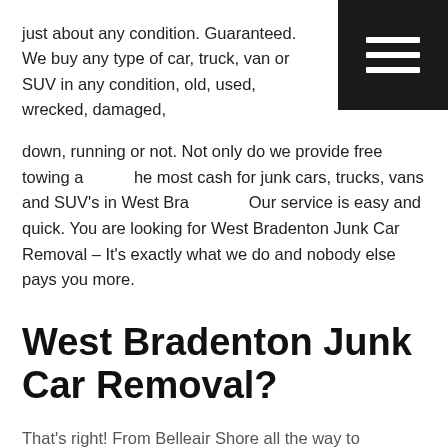just about any condition. Guaranteed. We buy any type of car, truck, van or SUV in any condition, old, used, wrecked, damaged, down, running or not. Not only do we provide free towing and the most cash for junk cars, trucks, vans and SUV's in West Bradenton. Our service is easy and quick. You are looking for West Bradenton Junk Car Removal – It's exactly what we do and nobody else pays you more.
[Figure (screenshot): Black hamburger menu icon with three white horizontal lines on a black square background, positioned in the top-right corner of the page.]
West Bradenton Junk Car Removal?
That's right! From Belleair Shore all the way to Bradenton and back again when you're looking for West Bradenton Junk Car Removal.
We buy everything from from a rusted out Volkswagen Touareg to that Aston Martin V8 Vantage rusting behind the house. Call us right now for a no-hassle quote and we'll offer you the most cash for your car and prompt, effective, respectful services too.